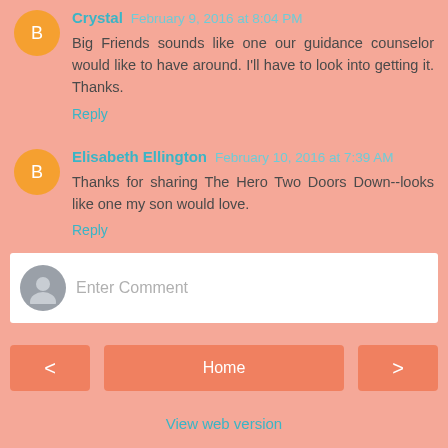Crystal February 9, 2016 at 8:04 PM
Big Friends sounds like one our guidance counselor would like to have around. I'll have to look into getting it. Thanks.
Reply
Elisabeth Ellington February 10, 2016 at 7:39 AM
Thanks for sharing The Hero Two Doors Down--looks like one my son would love.
Reply
Enter Comment
Home
View web version
About Me